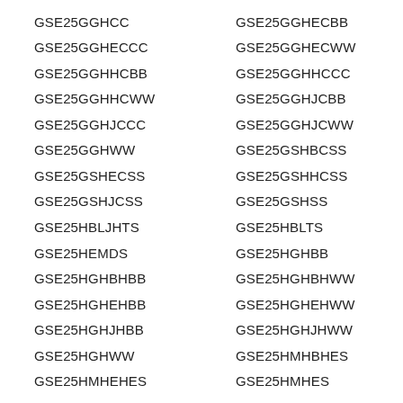GSE25GGHCC
GSE25GGHECBB
GSE25GGHECCC
GSE25GGHECWW
GSE25GGHHCBB
GSE25GGHHCCC
GSE25GGHHCWW
GSE25GGHJCBB
GSE25GGHJCCC
GSE25GGHJCWW
GSE25GGHWW
GSE25GSHBCSS
GSE25GSHECSS
GSE25GSHHCSS
GSE25GSHJCSS
GSE25GSHSS
GSE25HBLJHTS
GSE25HBLTS
GSE25HEMDS
GSE25HGHBB
GSE25HGHBHBB
GSE25HGHBHWW
GSE25HGHEHBB
GSE25HGHEHWW
GSE25HGHJHBB
GSE25HGHJHWW
GSE25HGHWW
GSE25HMHBHES
GSE25HMHEHES
GSE25HMHES